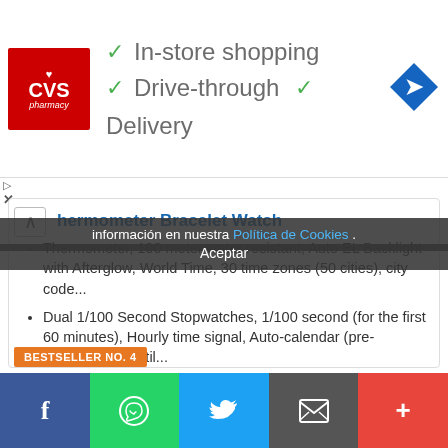[Figure (screenshot): CVS Pharmacy advertisement banner with checkmarks for In-store shopping, Drive-through, and Delivery options, with a navigation arrow icon on the right]
información en nuestra Política de Cookies .
Aceptar
hermometer Bracelet Watch
Thermometer, 100 meter water resistant, Auto EL Backlight with Afterglow, World Time, 30 time zones (50 cities), city code...
Dual 1/100 Second Stopwatches, 1/100 second (for the first 60 minutes), Hourly time signal, Auto-calendar (pre-programmed until...
$56.00 Prime
Comprar en Amazon
BESTSELLER NO. 4
[Figure (screenshot): Social sharing bar with Facebook, WhatsApp, Twitter, email, and more buttons]